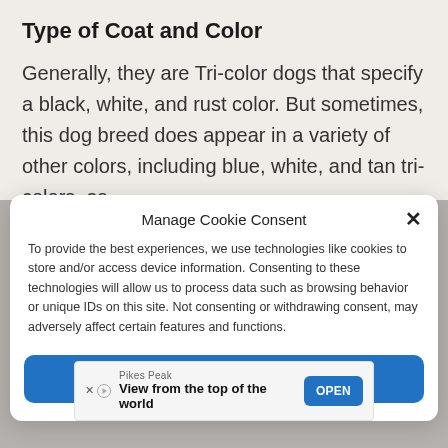Type of Coat and Color
Generally, they are Tri-color dogs that specify a black, white, and rust color. But sometimes, this dog breed does appear in a variety of other colors, including blue, white, and tan tri-colors, as
Manage Cookie Consent
To provide the best experiences, we use technologies like cookies to store and/or access device information. Consenting to these technologies will allow us to process data such as browsing behavior or unique IDs on this site. Not consenting or withdrawing consent, may adversely affect certain features and functions.
Accept
Pikes Peak
View from the top of the world
OPEN